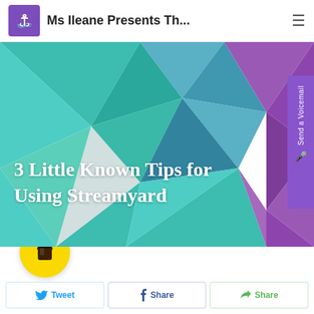Ms Ileane Presents Th...
[Figure (screenshot): Website header screenshot of Ms Ileane Presents Th... blog with purple anchor logo and hamburger menu]
3 Little Known Tips for Using Streamyard
[Figure (illustration): Voicemail tab on right side of hero banner with text 'Send a Voicemail' and microphone icon]
[Figure (logo): Yellow circular coffee cup button (Buy Me a Coffee widget)]
Tweet  Share  Share